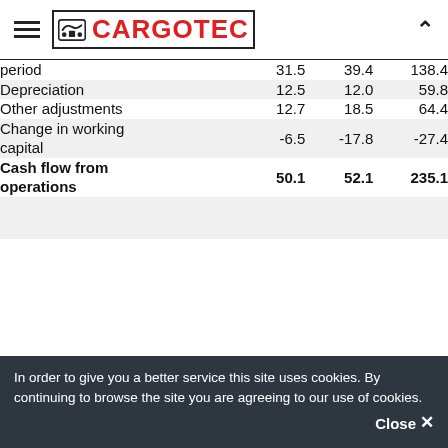CARGOTEC
|  |  |  |  |
| --- | --- | --- | --- |
| period | 31.5 | 39.4 | 138.4 |
| Depreciation | 12.5 | 12.0 | 59.8 |
| Other adjustments | 12.7 | 18.5 | 64.4 |
| Change in working capital | -6.5 | -17.8 | -27.4 |
| Cash flow from operations | 50.1 | 52.1 | 235.1 |
In order to give you a better service this site uses cookies. By continuing to browse the site you are agreeing to our use of cookies.